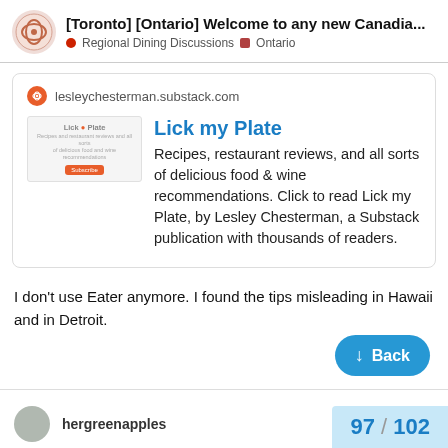[Toronto] [Ontario] Welcome to any new Canadia... | Regional Dining Discussions | Ontario
[Figure (screenshot): Link card preview for lesleychesterman.substack.com showing 'Lick my Plate' newsletter with logo thumbnail and description: Recipes, restaurant reviews, and all sorts of delicious food & wine recommendations. Click to read Lick my Plate, by Lesley Chesterman, a Substack publication with thousands of readers.]
I don’t use Eater anymore. I found the tips misleading in Hawaii and in Detroit.
Back
97 / 102
hergreenapples